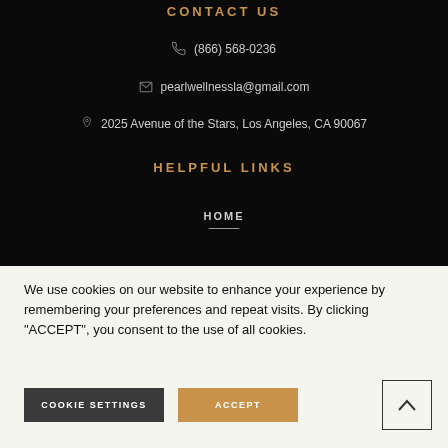CONTACT US
(866) 568-0236
pearlwellnessla@gmail.com
2025 Avenue of the Stars, Los Angeles, CA 90067
HELPFUL LINKS
HOME
We use cookies on our website to enhance your experience by remembering your preferences and repeat visits. By clicking “ACCEPT”, you consent to the use of all cookies.
COOKIE SETTINGS
ACCEPT